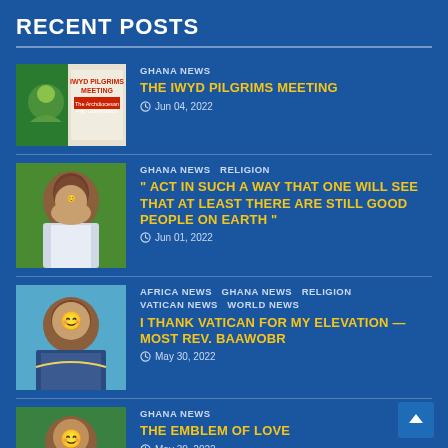RECENT POSTS
GHANA NEWS | The IWYD Pilgrims Meeting | Jun 04, 2022
GHANA NEWS  RELIGION | " ACT IN SUCH A WAY THAT ONE WILL SEE THAT AT LEAST THERE ARE STILL GOOD PEOPLE ON EARTH " | Jun 01, 2022
AFRICA NEWS  GHANA NEWS  RELIGION  VATICAN NEWS  WORLD NEWS | I THANK VATICAN FOR MY ELEVATION — MOST REV. BAAWOBR | May 30, 2022
GHANA NEWS | THE EMBLEM OF LOVE | May 30, 2022